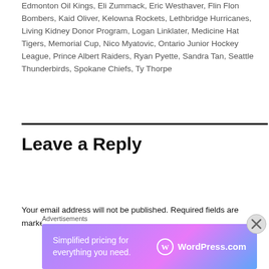Edmonton Oil Kings, Eli Zummack, Eric Westhaver, Flin Flon Bombers, Kaid Oliver, Kelowna Rockets, Lethbridge Hurricanes, Living Kidney Donor Program, Logan Linklater, Medicine Hat Tigers, Memorial Cup, Nico Myatovic, Ontario Junior Hockey League, Prince Albert Raiders, Ryan Pyette, Sandra Tan, Seattle Thunderbirds, Spokane Chiefs, Ty Thorpe
Leave a Reply
Your email address will not be published. Required fields are marked *
[Figure (other): WordPress.com advertisement banner: 'Simplified pricing for everything you need.' with WordPress.com logo]